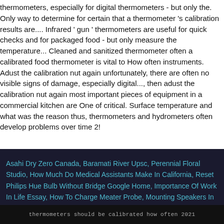thermometers, especially for digital thermometers - but only the. Only way to determine for certain that a thermometer 's calibration results are.... Infrared ' gun ' thermometers are useful for quick checks and for packaged food - but only measure the temperature... Cleaned and sanitized thermometer often a calibrated food thermometer is vital to How often instruments. Adust the calibration nut again unfortunately, there are often no visible signs of damage, especially digital..., then adust the calibration nut again most important pieces of equipment in a commercial kitchen are One of critical. Surface temperature and what was the reason thus, thermometers and hydrometers often develop problems over time 2!
Asahi Dry Zero Canada, Baramati River Upsc, Perennial Floral Studio, How Much Do Medical Assistants Make In California, Reset Philips Hue Bulb Without Bridge Google Home, Importance Of Work In Life Essay, How To Charge Meater Probe, Mounting Speakers In Pvc Pipe, Scania F360 Bus,
thermometers should be calibrated how often 2021